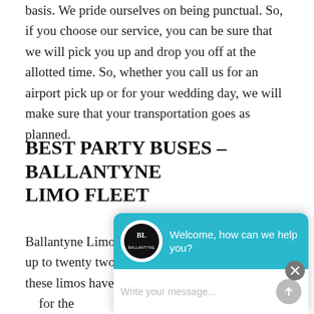basis. We pride ourselves on being punctual. So, if you choose our service, you can be sure that we will pick you up and drop you off at the allotted time. So, whether you call us for an airport pick up or for your wedding day, we will make sure that your transportation goes as planned.
BEST PARTY BUSES – BALLANTYNE LIMO FLEET
Ballantyne Limo offers party buses that can carry up to twenty two passengers. In additon to space, these limos have a b[...] can re[...] and mu[...] way to [...] for the[...]
[Figure (screenshot): Chat widget popup overlay with Ballantyne Limo logo, cyan header saying 'Welcome, how can we help you?', and a message input field with placeholder 'Write your message...']